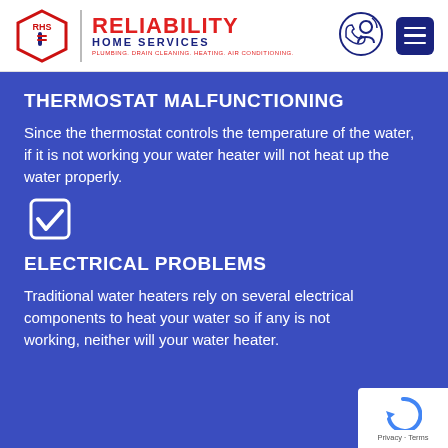[Figure (logo): Reliability Home Services logo with RHS hexagon badge and red/blue brand text]
[Figure (illustration): Phone with person icon illustration (call icon)]
[Figure (illustration): Blue hamburger menu button]
THERMOSTAT MALFUNCTIONING
Since the thermostat controls the temperature of the water, if it is not working your water heater will not heat up the water properly.
[Figure (illustration): Checkmark checkbox icon]
ELECTRICAL PROBLEMS
Traditional water heaters rely on several electrical components to heat your water so if any is not working, neither will your water heater.
[Figure (logo): Google reCAPTCHA badge with Privacy and Terms links]